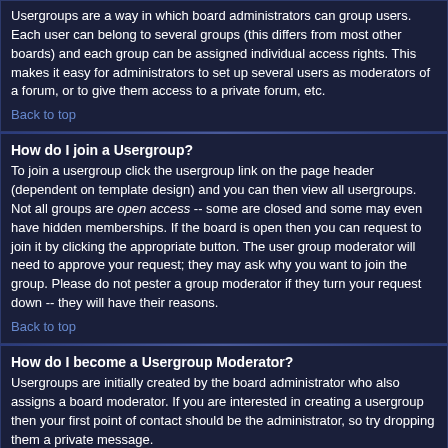Usergroups are a way in which board administrators can group users. Each user can belong to several groups (this differs from most other boards) and each group can be assigned individual access rights. This makes it easy for administrators to set up several users as moderators of a forum, or to give them access to a private forum, etc.
Back to top
How do I join a Usergroup?
To join a usergroup click the usergroup link on the page header (dependent on template design) and you can then view all usergroups. Not all groups are open access -- some are closed and some may even have hidden memberships. If the board is open then you can request to join it by clicking the appropriate button. The user group moderator will need to approve your request; they may ask why you want to join the group. Please do not pester a group moderator if they turn your request down -- they will have their reasons.
Back to top
How do I become a Usergroup Moderator?
Usergroups are initially created by the board administrator who also assigns a board moderator. If you are interested in creating a usergroup then your first point of contact should be the administrator, so try dropping them a private message.
Back to top
Private Messaging